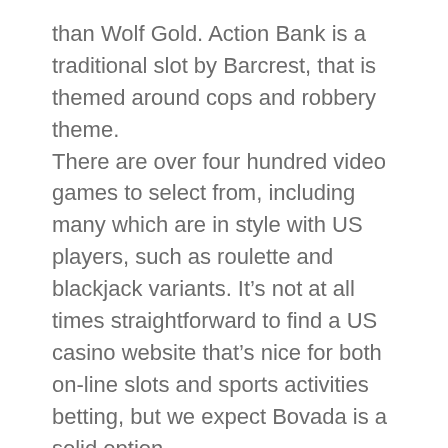than Wolf Gold. Action Bank is a traditional slot by Barcrest, that is themed around cops and robbery theme.
There are over four hundred video games to select from, including many which are in style with US players, such as roulette and blackjack variants. It’s not at all times straightforward to find a US casino website that’s nice for both on-line slots and sports activities betting, but we expect Bovada is a solid option.
The greatest payout on-line casinos in fact are all verified and licensed. Almost each online casino nowadays has slot machines in its game library. However, there are casinos that specialize